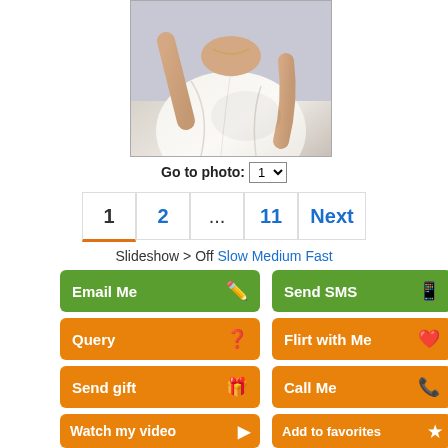[Figure (photo): Woman in white dress, photo cropped at top of page]
Go to photo: 1
1  2  ...  11  Next
Slideshow > Off Slow Medium Fast
Email Me
Send SMS
Query
Flirt with Me
Send gift
Call Me
Watch my video
Add to favorites
Age:  56
Date of birth:  March 19, 1966